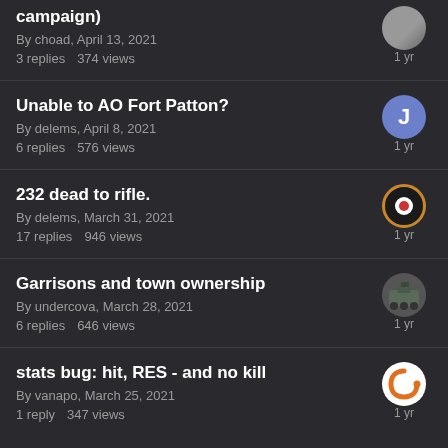campaign)
By choad, April 13, 2021
3 replies  374 views
Unable to AO Fort Patton?
By delems, April 8, 2021
6 replies  576 views
232 dead to rifle.
By delems, March 31, 2021
17 replies  946 views
Garrisons and town ownership
By undercova, March 28, 2021
6 replies  646 views
stats bug: hit, RES - and no kill
By vanapo, March 25, 2021
1 reply  347 views